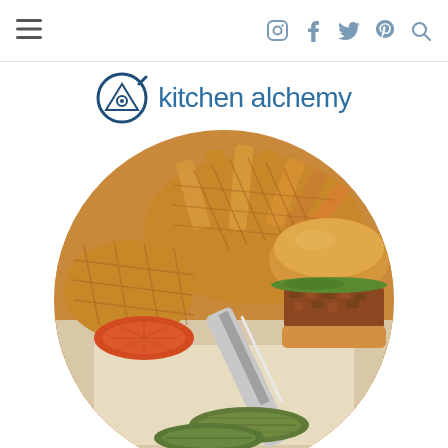kitchen alchemy — navigation bar with hamburger menu and social icons (Instagram, Facebook, Twitter, Pinterest, Search)
[Figure (logo): Kitchen Alchemy logo: a circular frying pan icon in dark navy blue with a triangle/eye symbol inside, followed by the text 'kitchen alchemy' in blue sans-serif font]
[Figure (photo): Circular cropped photo of a crispy fried chicken sandwich with waffle fries and pickle slices on a tray, close-up food photography]
One Crispy Chicken Sandwich to Rule Them All